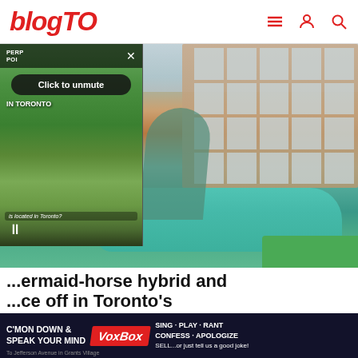blogTO
[Figure (photo): Outdoor fountain sculpture featuring a mermaid-horse hybrid figure, set in front of a brick apartment building in Toronto. A smaller bird sculpture is also visible in the fountain pool.]
[Figure (screenshot): Video player overlay showing a nature/trail scene with text 'PERP POI IN TORONTO', a close button, 'Click to unmute' button, 'is located in Toronto?' caption, and a pause button.]
...ermaid-horse hybrid and ...ce off in Toronto's ...ntain
[Figure (other): Advertisement banner: C'MON DOWN & SPEAK YOUR MIND VoxBox SING · PLAY · RANT CONFESS · APOLOGIZE SELL...or just tell us a good joke!]